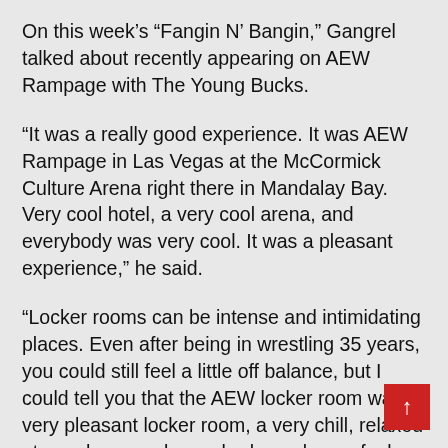On this week's “Fangin N’ Bangin,” Gangrel talked about recently appearing on AEW Rampage with The Young Bucks.
“It was a really good experience. It was AEW Rampage in Las Vegas at the McCormick Culture Arena right there in Mandalay Bay. Very cool hotel, a very cool arena, and everybody was very cool. It was a pleasant experience,” he said.
“Locker rooms can be intense and intimidating places. Even after being in wrestling 35 years, you could still feel a little off balance, but I could tell you that the AEW locker room was a very pleasant locker room, a very chill, relaxed atmosphere, and everybody made you feel welcome. It was cool. It had a good vibe. It was a very, very good experience.”